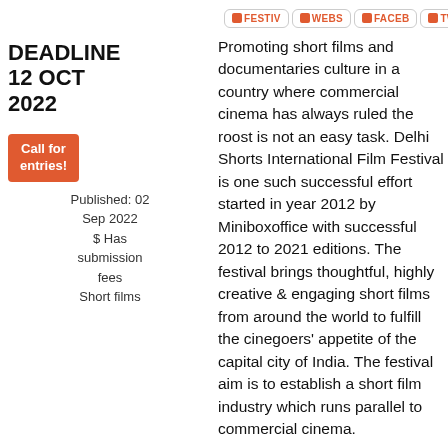FESTIV | WEBS | FACEB | TWITT | INSTAGRAM
DEADLINE 12 OCT 2022
Call for entries!
Published: 02
Sep 2022
$ Has submission fees
Short films
Promoting short films and documentaries culture in a country where commercial cinema has always ruled the roost is not an easy task. Delhi Shorts International Film Festival is one such successful effort started in year 2012 by Miniboxoffice with successful 2012 to 2021 editions. The festival brings thoughtful, highly creative & engaging short films from around the world to fulfill the cinegoers' appetite of the capital city of India. The festival aim is to establish a short film industry which runs parallel to commercial cinema.
11th Delhi Shorts International Film Festival-2022 is meant to grow many folds. The inaugural year 2012 was a big success followed by super